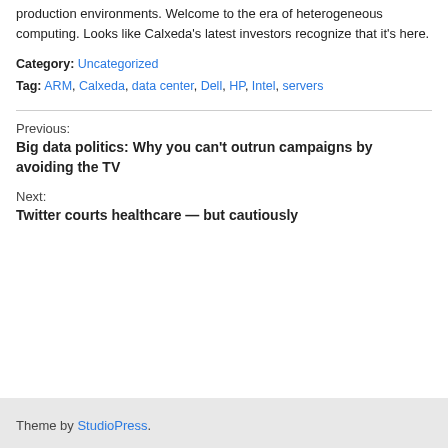production environments. Welcome to the era of heterogeneous computing. Looks like Calxeda's latest investors recognize that it's here.
Category: Uncategorized
Tag: ARM, Calxeda, data center, Dell, HP, Intel, servers
Previous:
Big data politics: Why you can't outrun campaigns by avoiding the TV
Next:
Twitter courts healthcare — but cautiously
Theme by StudioPress.